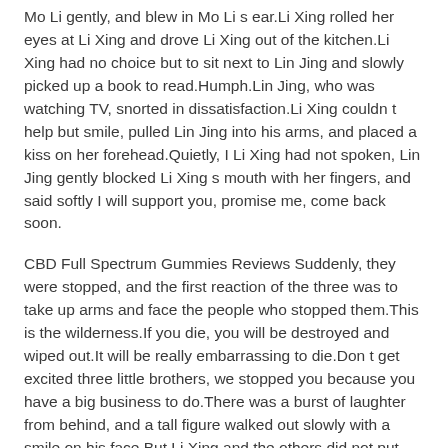Mo Li gently, and blew in Mo Li s ear.Li Xing rolled her eyes at Li Xing and drove Li Xing out of the kitchen.Li Xing had no choice but to sit next to Lin Jing and slowly picked up a book to read.Humph.Lin Jing, who was watching TV, snorted in dissatisfaction.Li Xing couldn t help but smile, pulled Lin Jing into his arms, and placed a kiss on her forehead.Quietly, I Li Xing had not spoken, Lin Jing gently blocked Li Xing s mouth with her fingers, and said softly I will support you, promise me, come back soon.
CBD Full Spectrum Gummies Reviews Suddenly, they were stopped, and the first reaction of the three was to take up arms and face the people who stopped them.This is the wilderness.If you die, you will be destroyed and wiped out.It will be really embarrassing to die.Don t get excited three little brothers, we stopped you because you have a big business to do.There was a burst of laughter from behind, and a tall figure walked out slowly with a smile on his face.But Li Xing and the others did not put down their weapons, but quietly took a few steps back and asked calmly, Who are you And what business do you want to do with us Huang Tianrong, the